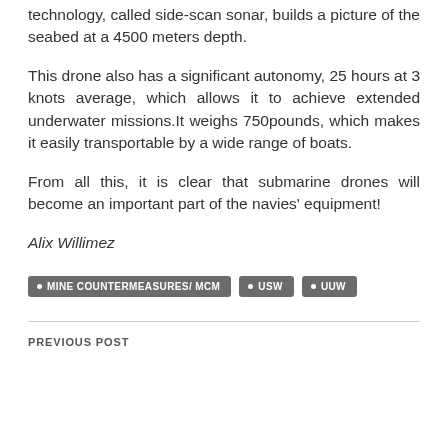technology, called side-scan sonar, builds a picture of the seabed at a 4500 meters depth.
This drone also has a significant autonomy, 25 hours at 3 knots average, which allows it to achieve extended underwater missions.It weighs 750pounds, which makes it easily transportable by a wide range of boats.
From all this, it is clear that submarine drones will become an important part of the navies' equipment!
Alix Willimez
• MINE COUNTERMEASURES/ MCM  • USW  • UUW
PREVIOUS POST